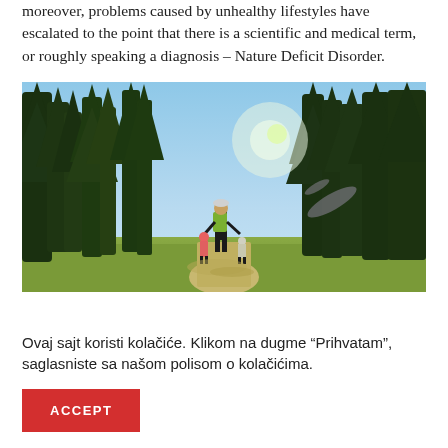moreover, problems caused by unhealthy lifestyles have escalated to the point that there is a scientific and medical term, or roughly speaking a diagnosis – Nature Deficit Disorder.
[Figure (photo): A person (adult with a backpack) and two children walking on a path through a forest of tall pine trees, viewed from behind, with bright sunlight and a lens flare visible through the canopy.]
Ovaj sajt koristi kolačiće. Klikom na dugme “Prihvatam”, saglasniste sa našom polisom o kolačićima.